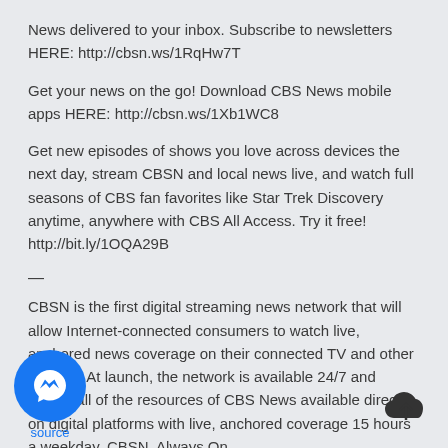News delivered to your inbox. Subscribe to newsletters HERE: http://cbsn.ws/1RqHw7T
Get your news on the go! Download CBS News mobile apps HERE: http://cbsn.ws/1Xb1WC8
Get new episodes of shows you love across devices the next day, stream CBSN and local news live, and watch full seasons of CBS fan favorites like Star Trek Discovery anytime, anywhere with CBS All Access. Try it free! http://bit.ly/1OQA29B
—
CBSN is the first digital streaming news network that will allow Internet-connected consumers to watch live, anchored news coverage on their connected TV and other devices. At launch, the network is available 24/7 and makes all of the resources of CBS News available directly on digital platforms with live, anchored coverage 15 hours a weekday. CBSN. Always On.
[Figure (logo): Blue circular Facebook Messenger icon button with 'source' label below in blue text]
[Figure (logo): Black cloud with upload arrow icon in bottom right corner]